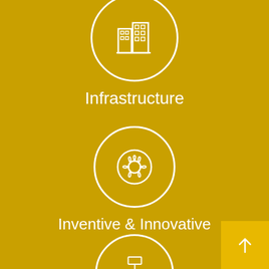[Figure (illustration): White circle with outline building/infrastructure icon on golden yellow background]
Infrastructure
[Figure (illustration): White circle with outline wheel/gear icon on golden yellow background]
Inventive & Innovative
[Figure (illustration): White circle with outline organizational chart/network icon on golden yellow background]
[Figure (illustration): Golden yellow square button with white upward arrow in bottom right corner]